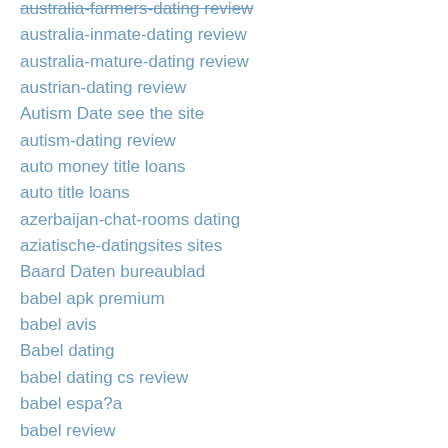australia-farmers-dating review
australia-inmate-dating review
australia-mature-dating review
austrian-dating review
Autism Date see the site
autism-dating review
auto money title loans
auto title loans
azerbaijan-chat-rooms dating
aziatische-datingsites sites
Baard Daten bureaublad
babel apk premium
babel avis
Babel dating
babel dating cs review
babel espa?a
babel review
Babel visitors